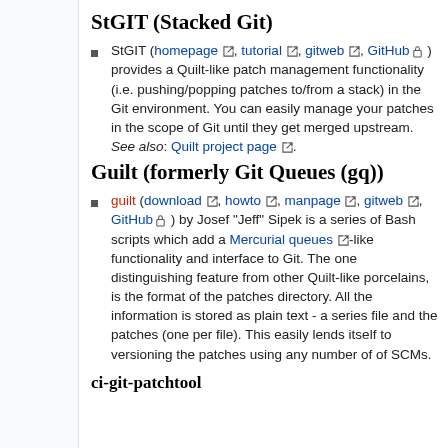StGIT (Stacked Git)
StGIT (homepage, tutorial, gitweb, GitHub) provides a Quilt-like patch management functionality (i.e. pushing/popping patches to/from a stack) in the Git environment. You can easily manage your patches in the scope of Git until they get merged upstream. See also: Quilt project page.
Guilt (formerly Git Queues (gq))
guilt (download, howto, manpage, gitweb, GitHub) by Josef "Jeff" Sipek is a series of Bash scripts which add a Mercurial queues-like functionality and interface to Git. The one distinguishing feature from other Quilt-like porcelains, is the format of the patches directory. All the information is stored as plain text - a series file and the patches (one per file). This easily lends itself to versioning the patches using any number of of SCMs.
ci-git-patchtool